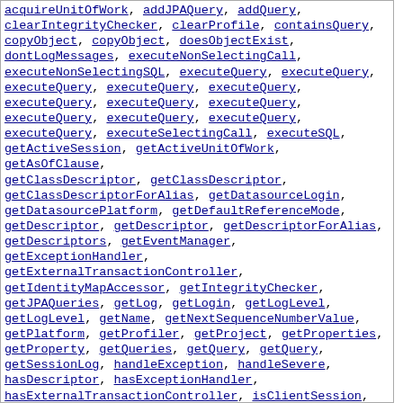acquireUnitOfWork, addJPAQuery, addQuery, clearIntegrityChecker, clearProfile, containsQuery, copyObject, copyObject, doesObjectExist, dontLogMessages, executeNonSelectingCall, executeNonSelectingSQL, executeQuery, executeQuery, executeQuery, executeQuery, executeQuery, executeQuery, executeQuery, executeQuery, executeQuery, executeQuery, executeQuery, executeSelectingCall, executeSQL, getActiveSession, getActiveUnitOfWork, getAsOfClause, getClassDescriptor, getClassDescriptor, getClassDescriptorForAlias, getDatasourceLogin, getDatasourcePlatform, getDefaultReferenceMode, getDescriptor, getDescriptor, getDescriptorForAlias, getDescriptors, getEventManager, getExceptionHandler, getExternalTransactionController, getIdentityMapAccessor, getIntegrityChecker, getJPAQueries, getLog, getLogin, getLogLevel, getLogLevel, getName, getNextSequenceNumberValue, getPlatform, getProfiler, getProject, getProperties, getProperty, getQueries, getQuery, getQuery, getSessionLog, handleException, handleSevere, hasDescriptor, hasExceptionHandler, hasExternalTransactionController, isClientSession, isConnected, isDatabaseSession, isDistributedSession, isFinalizersEnabled, isInProfile, isRemoteSession, isRemoteUnitOfWork, isServerSession, isSessionBroker, isUnitOfWork, keyFromObject, log, logMessage, readAllObjects, readAllObjects, readAllObjects, readObject, readObject, readObject, readObject, refreshObject, release, removeProperty, removeQuery